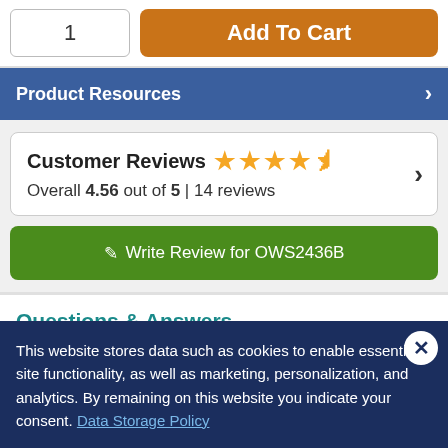1
Add To Cart
Product Resources
Customer Reviews ★★★★½
Overall 4.56 out of 5 | 14 reviews
✎ Write Review for OWS2436B
Questions & Answers
This website stores data such as cookies to enable essential site functionality, as well as marketing, personalization, and analytics. By remaining on this website you indicate your consent. Data Storage Policy